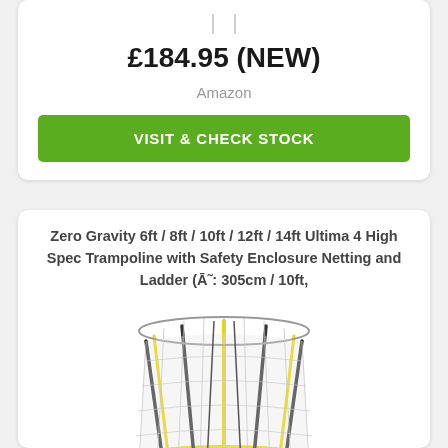£184.95 (NEW)
Amazon
VISIT & CHECK STOCK
Zero Gravity 6ft / 8ft / 10ft / 12ft / 14ft Ultima 4 High Spec Trampoline with Safety Enclosure Netting and Ladder (Ā˜: 305cm / 10ft,
[Figure (photo): Photo of a trampoline with safety enclosure netting, yellow padding on the rim, blue jumping mat, and a ladder. The trampoline has curved support poles and mesh netting enclosure.]